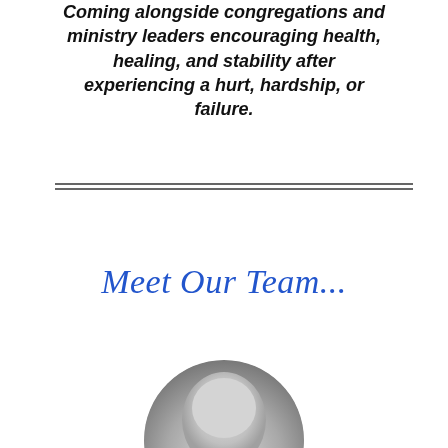Coming alongside congregations and ministry leaders encouraging health, healing, and stability after experiencing a hurt, hardship, or failure.
[Figure (other): Double horizontal divider lines separating sections]
Meet Our Team...
[Figure (photo): Circular cropped grayscale photo of a person, partially visible at the bottom of the page]